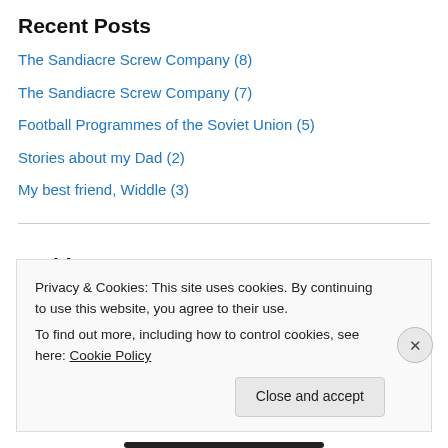Recent Posts
The Sandiacre Screw Company (8)
The Sandiacre Screw Company (7)
Football Programmes of the Soviet Union (5)
Stories about my Dad (2)
My best friend, Widdle (3)
Archives
August 2022
July 2022
June 2022
Privacy & Cookies: This site uses cookies. By continuing to use this website, you agree to their use.
To find out more, including how to control cookies, see here: Cookie Policy
Close and accept